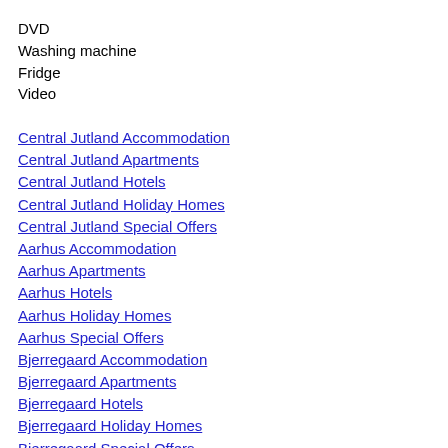DVD
Washing machine
Fridge
Video
Central Jutland Accommodation
Central Jutland Apartments
Central Jutland Hotels
Central Jutland Holiday Homes
Central Jutland Special Offers
Aarhus Accommodation
Aarhus Apartments
Aarhus Hotels
Aarhus Holiday Homes
Aarhus Special Offers
Bjerregaard Accommodation
Bjerregaard Apartments
Bjerregaard Hotels
Bjerregaard Holiday Homes
Bjerregaard Special Offers
Herning Accommodation
Herning Apartments
Herning Hotels
Herning Holiday Homes